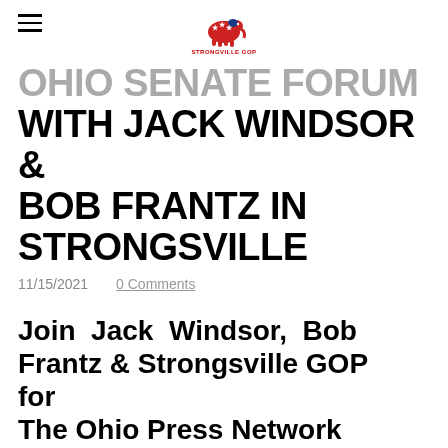STRONGVILLE GOP
OHIO SENATE FORUM WITH JACK WINDSOR & BOB FRANTZ IN STRONGSVILLE
11/15/2021   0 Comments
Join Jack Windsor, Bob Frantz & Strongsville GOP for
The Ohio Press Network Ohio GOP Senate Forum